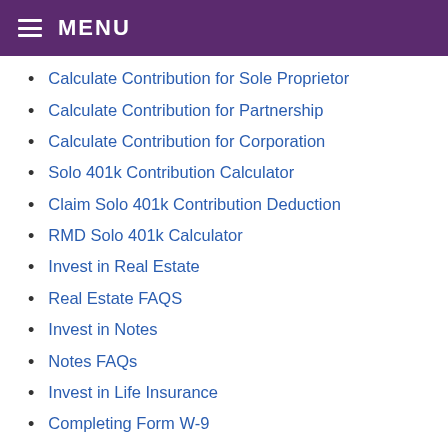MENU
Calculate Contribution for Sole Proprietor
Calculate Contribution for Partnership
Calculate Contribution for Corporation
Solo 401k Contribution Calculator
Claim Solo 401k Contribution Deduction
RMD Solo 401k Calculator
Invest in Real Estate
Real Estate FAQS
Invest in Notes
Notes FAQs
Invest in Life Insurance
Completing Form W-9
Form 1040 - Reporting Rollovers to Solo 401k
1099-R Rollover Reporting Chart
The 10% Early Distribution Penalty
IRS Levy on Solo 401k